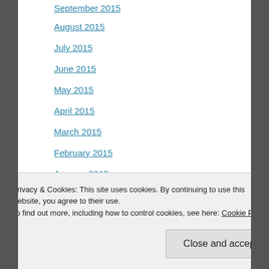September 2015
August 2015
July 2015
June 2015
May 2015
April 2015
March 2015
February 2015
January 2015
December 2014
November 2014
October 2014
Privacy & Cookies: This site uses cookies. By continuing to use this website, you agree to their use.
To find out more, including how to control cookies, see here: Cookie Policy
Close and accept